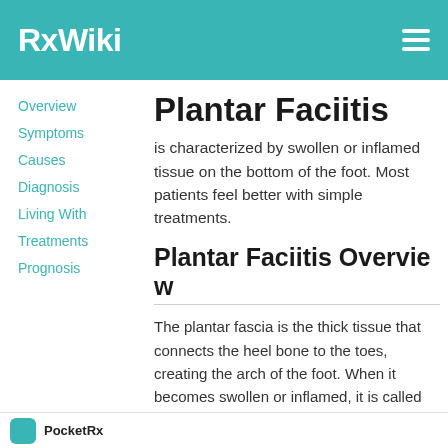RxWiki
Overview
Symptoms
Causes
Diagnosis
Living With
Treatments
Prognosis
Plantar Faciitis
is characterized by swollen or inflamed tissue on the bottom of the foot. Most patients feel better with simple treatments.
Plantar Faciitis Overview
The plantar fascia is the thick tissue that connects the heel bone to the toes, creating the arch of the foot. When it becomes swollen or inflamed, it is called plantar fasciitis.
Symptoms include dull or sharp heel pain or pain on the bottom of the foot.
PocketRx